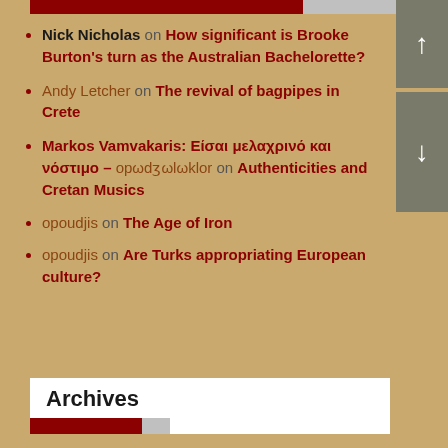Nick Nicholas on How significant is Brooke Burton's turn as the Australian Bachelorette?
Andy Letcher on The revival of bagpipes in Crete
Markos Vamvakaris: Είσαι μελαχρινό και νόστιμο – opωdʒωlωklor on Authenticities and Cretan Musics
opoudjis on The Age of Iron
opoudjis on Are Turks appropriating European culture?
Archives